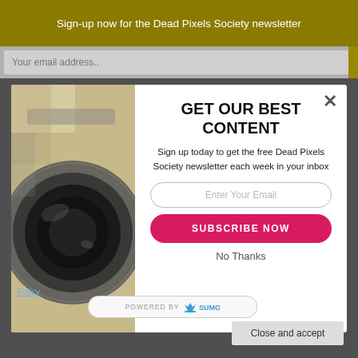Sign-up now for the Dead Pixels Society newsletter
Your email address..
[Figure (screenshot): Modal popup overlay with camera lens illustration on left and newsletter signup form on right. Contains title 'GET OUR BEST CONTENT', descriptive text, email input, Subscribe Now button, and No Thanks link.]
GET OUR BEST CONTENT
Sign up today to get the free Dead Pixels Society newsletter each week in your inbox
Enter Your Email
SUBSCRIBE NOW
No Thanks
Policy
POWERED BY SUMO
Close and accept